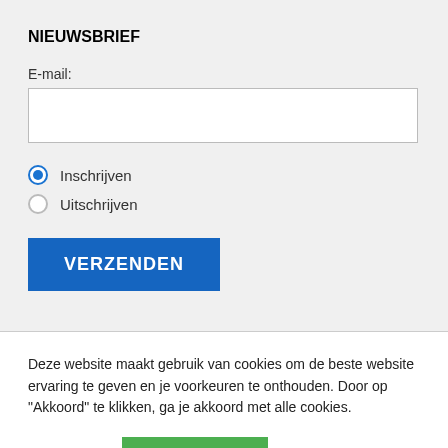NIEUWSBRIEF
E-mail:
Inschrijven
Uitschrijven
VERZENDEN
Deze website maakt gebruik van cookies om de beste website ervaring te geven en je voorkeuren te onthouden. Door op “Akkoord” te klikken, ga je akkoord met alle cookies.
Instellingen
AKKOORD